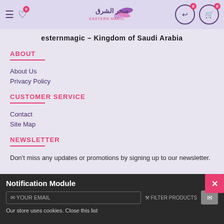Eastern Magic - سحر الشرق header navigation
esternmagic - Kingdom of Saudi Arabia
ABOUT
About Us
Privacy Policy
CUSTOMER SERVICE
Contact
Site Map
NEWSLETTER
Don't miss any updates or promotions by signing up to our newsletter.
Notification Module
Our store uses cookies. Close this list